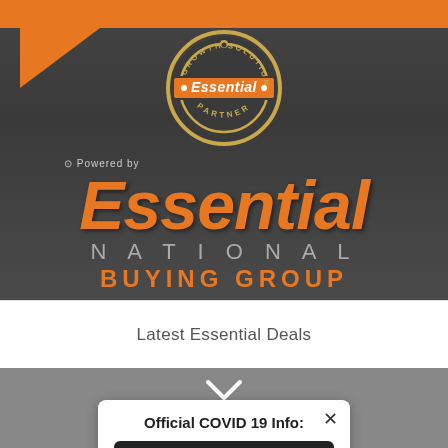[Figure (logo): Essential Growth Solutions Partner badge/seal logo - circular badge with 'GROWTH SOLUTIONS' around top, 'Essential' in center bar, 'PARTNER' at bottom]
[Figure (logo): Essential National Buying Group wordmark - 'Powered by' small text above large italic orange 'Essential' text, then 'NATIONAL BUYING GROUP' below]
Latest Essential Deals
[Figure (other): Chevron/down arrow icon in white]
Official COVID 19 Info:
Click here